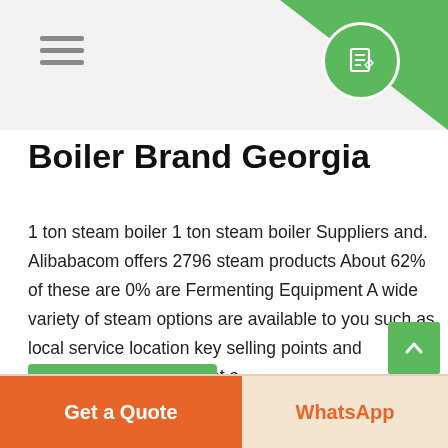Boiler Brand Georgia
Boiler Brand Georgia
1 ton steam boiler 1 ton steam boiler Suppliers and. Alibabacom offers 2796 steam products About 62% of these are 0% are Fermenting Equipment A wide variety of steam options are available to you such as local service location key selling points and applicable industries. Get a ...
Learn More
Get a Quote
WhatsApp